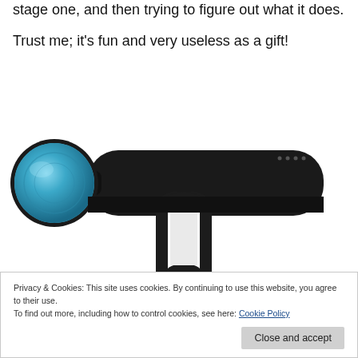stage one, and then trying to figure out what it does.
Trust me; it's fun and very useless as a gift!
[Figure (photo): A black massage gun (percussion massager) with a blue circular attachment head, shown from a side angle against a white background.]
Privacy & Cookies: This site uses cookies. By continuing to use this website, you agree to their use.
To find out more, including how to control cookies, see here: Cookie Policy
Close and accept